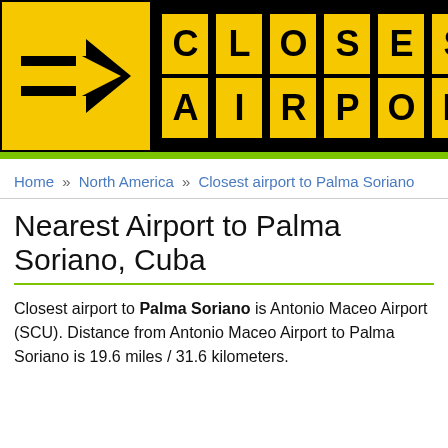[Figure (logo): Closest Airport logo: black banner with yellow arrow sign box on left, and yellow letter boxes spelling CLOSEST AIRPORT on right]
Home » North America » Closest airport to Palma Soriano
Nearest Airport to Palma Soriano, Cuba
Closest airport to Palma Soriano is Antonio Maceo Airport (SCU). Distance from Antonio Maceo Airport to Palma Soriano is 19.6 miles / 31.6 kilometers.